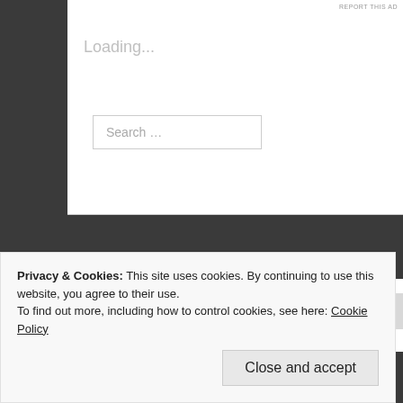REPORT THIS AD
Loading...
Search …
Recent Posts
The Lakes summer 2022
Brat Tor and Arms Tor
Privacy & Cookies: This site uses cookies. By continuing to use this website, you agree to their use.
To find out more, including how to control cookies, see here: Cookie Policy
Close and accept